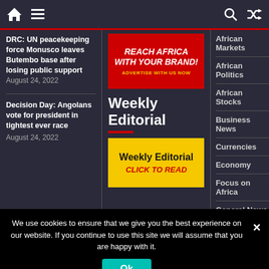Navigation bar with home icon, hamburger menu, search icon, shuffle icon
DRC: UN peacekeeping force Monusco leaves Butembo base after losing public support August 24, 2022
Decision Day: Angolans vote for president in tightest ever race August 24, 2022
[Figure (infographic): Red advertisement banner: REACH AFRICA WITH YOUR BRAND! ADVERTISE WITH US NOW]
Weekly Editorial
[Figure (infographic): Yellow Weekly Editorial banner with text: Weekly Editorial CLICK TO READ]
African Markets
African Politics
African Stocks
Business News
Currencies
Economy
Focus on Africa
General News
Global Economics
We use cookies to ensure that we give you the best experience on our website. If you continue to use this site we will assume that you are happy with it.
Ok